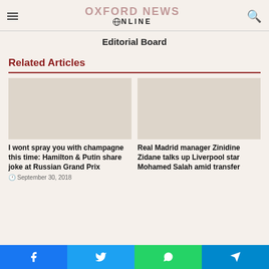OXFORD NEWS ONLINE
Editorial Board
Related Articles
[Figure (photo): Placeholder image for article about Hamilton and Putin at Russian Grand Prix]
I wont spray you with champagne this time: Hamilton & Putin share joke at Russian Grand Prix
September 30, 2018
[Figure (photo): Placeholder image for article about Real Madrid manager Zinidine Zidane and Mohamed Salah]
Real Madrid manager Zinidine Zidane talks up Liverpool star Mohamed Salah amid transfer